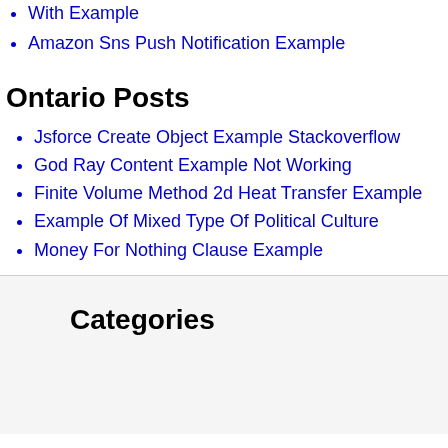With Example
Amazon Sns Push Notification Example
Ontario Posts
Jsforce Create Object Example Stackoverflow
God Ray Content Example Not Working
Finite Volume Method 2d Heat Transfer Example
Example Of Mixed Type Of Political Culture
Money For Nothing Clause Example
Categories